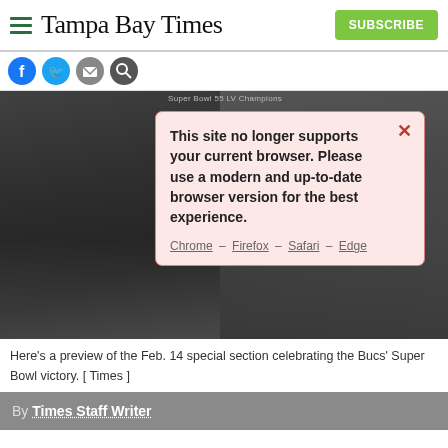Tampa Bay Times
[Figure (screenshot): Browser compatibility warning modal overlay on Tampa Bay Times article page, showing message: 'This site no longer supports your current browser. Please use a modern and up-to-date browser version for the best experience.' with links to Chrome, Firefox, Safari, Edge. Behind the modal is an image related to the Bucs Super Bowl victory (Feb. 14 special section preview).]
Here's a preview of the Feb. 14 special section celebrating the Bucs' Super Bowl victory. [ Times ]
By Times Staff Writer